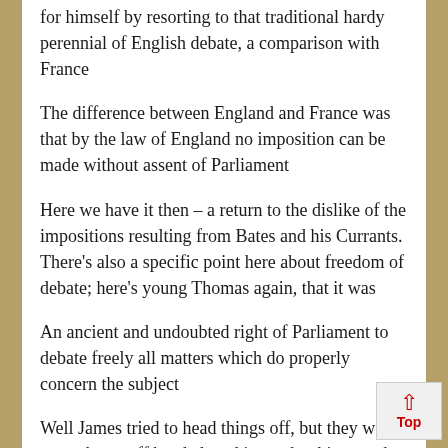for himself by resorting to that traditional hardy perennial of English debate, a comparison with France
The difference between England and France was that by the law of England no imposition can be made without assent of Parliament
Here we have it then – a return to the dislike of the impositions resulting from Bates and his Currants. There's also a specific point here about freedom of debate; here's young Thomas again, that it was
An ancient and undoubted right of Parliament to debate freely all matters which do properly concern the subject
Well James tried to head things off, but they were not to be so off headed, and instead to his rage the